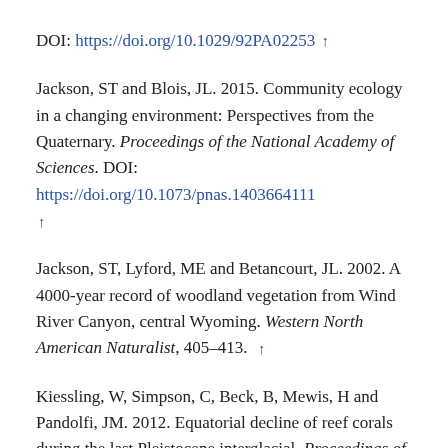DOI: https://doi.org/10.1029/92PA02253 ↑
Jackson, ST and Blois, JL. 2015. Community ecology in a changing environment: Perspectives from the Quaternary. Proceedings of the National Academy of Sciences. DOI: https://doi.org/10.1073/pnas.1403664111 ↑
Jackson, ST, Lyford, ME and Betancourt, JL. 2002. A 4000-year record of woodland vegetation from Wind River Canyon, central Wyoming. Western North American Naturalist, 405–413. ↑
Kiessling, W, Simpson, C, Beck, B, Mewis, H and Pandolfi, JM. 2012. Equatorial decline of reef corals during the last Pleistocene interglacial. Proceedings of